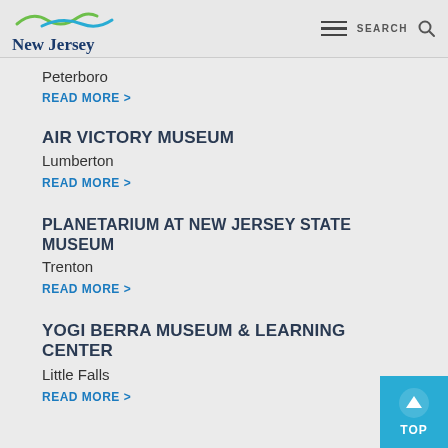New Jersey
Peterboro
READ MORE >
AIR VICTORY MUSEUM
Lumberton
READ MORE >
PLANETARIUM AT NEW JERSEY STATE MUSEUM
Trenton
READ MORE >
YOGI BERRA MUSEUM & LEARNING CENTER
Little Falls
READ MORE >